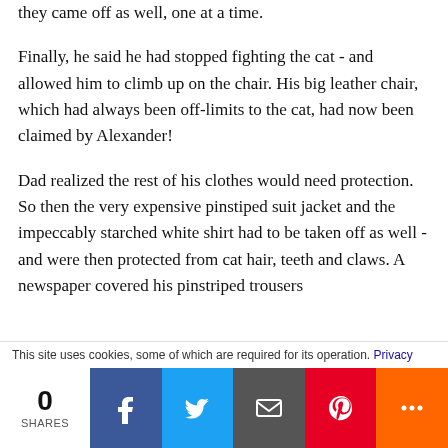they came off as well, one at a time.
Finally, he said he had stopped fighting the cat - and allowed him to climb up on the chair. His big leather chair, which had always been off-limits to the cat, had now been claimed by Alexander!
Dad realized the rest of his clothes would need protection. So then the very expensive pinstiped suit jacket and the impeccably starched white shirt had to be taken off as well - and were then protected from cat hair, teeth and claws. A newspaper covered his pinstriped trousers
This site uses cookies, some of which are required for its operation. Privacy
0 SHARES  [Facebook] [Twitter] [Email] [Pinterest] [More]